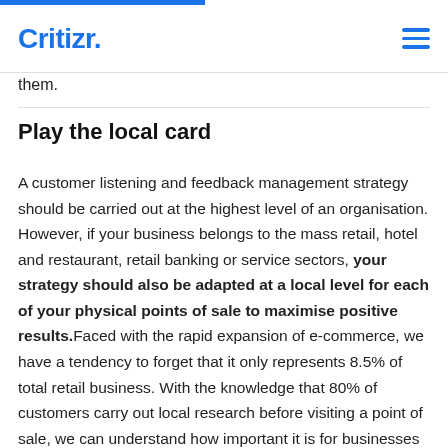Critizr.
them.
Play the local card
A customer listening and feedback management strategy should be carried out at the highest level of an organisation. However, if your business belongs to the mass retail, hotel and restaurant, retail banking or service sectors, your strategy should also be adapted at a local level for each of your physical points of sale to maximise positive results. Faced with the rapid expansion of e-commerce, we have a tendency to forget that it only represents 8.5% of total retail business. With the knowledge that 80% of customers carry out local research before visiting a point of sale, we can understand how important it is for businesses to value